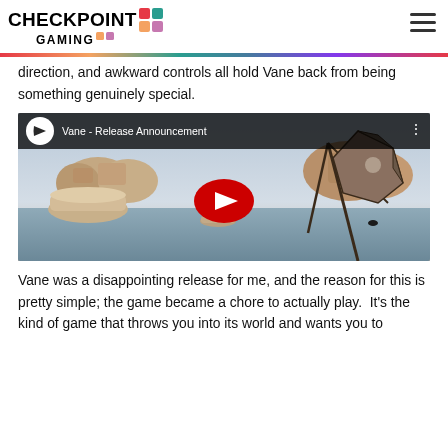CHECKPOINT GAMING
direction, and awkward controls all hold Vane back from being something genuinely special.
[Figure (screenshot): YouTube video thumbnail for 'Vane - Release Announcement' showing a desert landscape with floating rock formations and a large mechanical structure, with a red YouTube play button overlay.]
Vane was a disappointing release for me, and the reason for this is pretty simple; the game became a chore to actually play.  It's the kind of game that throws you into its world and wants you to